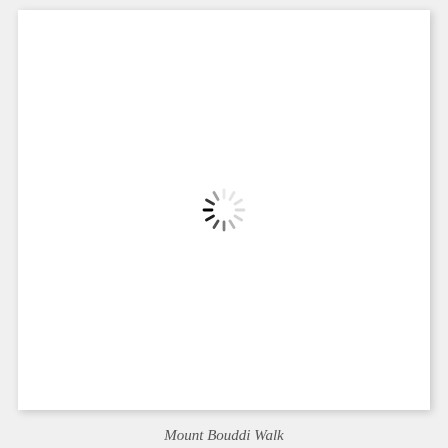[Figure (other): Loading spinner icon (circular dashed loading indicator) centered on a white document page area]
Mount Bouddi Walk